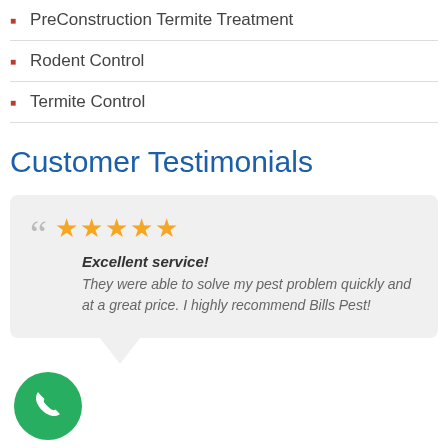PreConstruction Termite Treatment
Rodent Control
Termite Control
Customer Testimonials
Excellent service! They were able to solve my pest problem quickly and at a great price. I highly recommend Bills Pest!